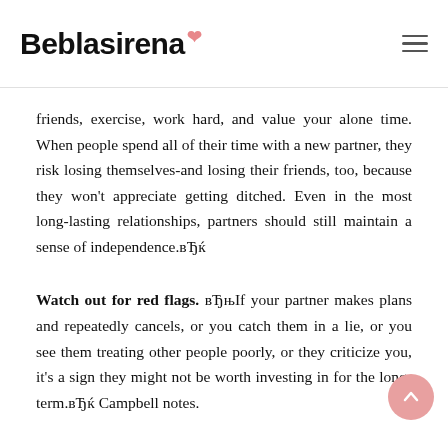Beblasirena
friends, exercise, work hard, and value your alone time. When people spend all of their time with a new partner, they risk losing themselves-and losing their friends, too, because they won't appreciate getting ditched. Even in the most long-lasting relationships, partners should still maintain a sense of independence.вЂќ
Watch out for red flags. вЂњIf your partner makes plans and repeatedly cancels, or you catch them in a lie, or you see them treating other people poorly, or they criticize you, it's a sign they might not be worth investing in for the long-term.вЂќ Campbell notes.